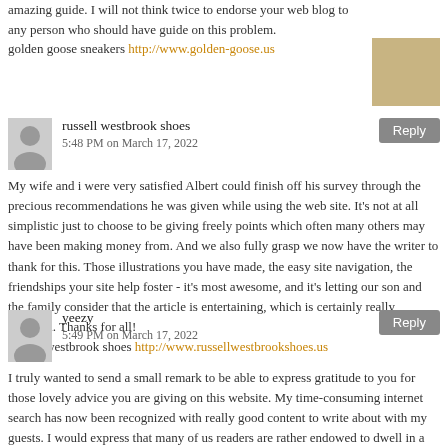amazing guide. I will not think twice to endorse your web blog to any person who should have guide on this problem.
golden goose sneakers http://www.golden-goose.us
russell westbrook shoes
5:48 PM on March 17, 2022
My wife and i were very satisfied Albert could finish off his survey through the precious recommendations he was given while using the web site. It's not at all simplistic just to choose to be giving freely points which often many others may have been making money from. And we also fully grasp we now have the writer to thank for this. Those illustrations you have made, the easy site navigation, the friendships your site help foster - it's most awesome, and it's letting our son and the family consider that the article is entertaining, which is certainly really essential. Thanks for all!
russell westbrook shoes http://www.russellwestbrookshoes.us
yeezy
5:49 PM on March 17, 2022
I truly wanted to send a small remark to be able to express gratitude to you for those lovely advice you are giving on this website. My time-consuming internet search has now been recognized with really good content to write about with my guests. I would express that many of us readers are rather endowed to dwell in a fine website with very many special professionals with insightful tips. I feel pretty grateful to have discovered your web site and look forward to some more thrilling moments reading here. Thanks once again for a lot of things.